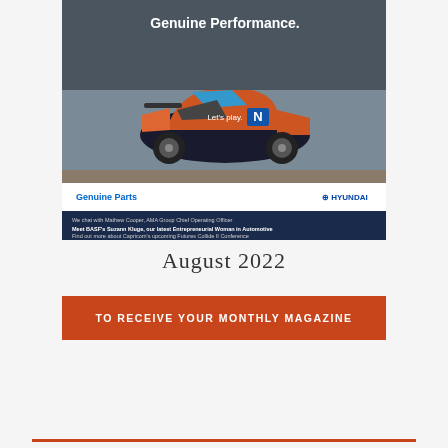[Figure (illustration): Magazine cover showing a Hyundai N rally car with text 'Genuine Performance.' and 'Let's play.' and 'Genuine Parts' with Hyundai logo, plus a dark blue banner with text about Mathew Cooper AMA Group COO, BASF's Suzann Kluge, and Capricorn's Futures Collide II Conference]
August 2022
TO RECEIVE YOUR MONTHLY MAGAZINE